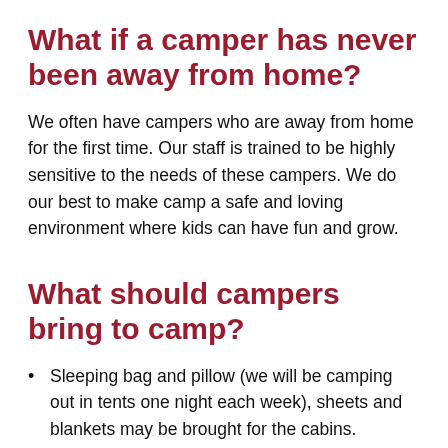What if a camper has never been away from home?
We often have campers who are away from home for the first time. Our staff is trained to be highly sensitive to the needs of these campers. We do our best to make camp a safe and loving environment where kids can have fun and grow.
What should campers bring to camp?
Sleeping bag and pillow (we will be camping out in tents one night each week), sheets and blankets may be brought for the cabins.